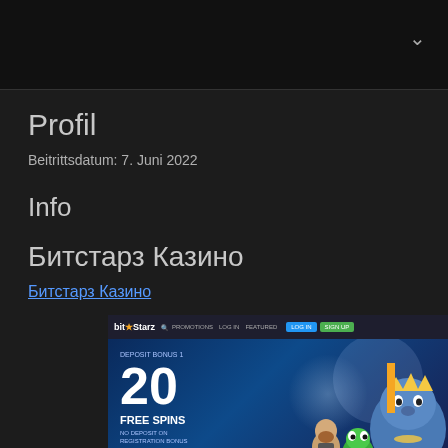Profil
Beitrittsdatum: 7. Juni 2022
Info
Битстарз Казино
Битстарз Казино
[Figure (screenshot): BitStarz casino website screenshot showing '20 FREE SPINS' banner with cartoon characters and a sign up now button]